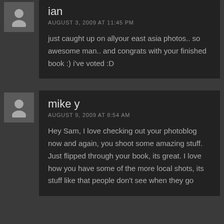ian
AUGUST 3, 2009 AT 11:45 PM
just caught up on allyour east asia photos.. so awesome man.. and congrats with your finished book :) i've voted :D
mike y
AUGUST 9, 2009 AT 8:54 AM
Hey Sam, I love checking out your photoblog now and again, you shoot some amazing stuff. Just flipped through your book, its great. I love how you have some of the more local shots, its stuff like that people don't see when they go